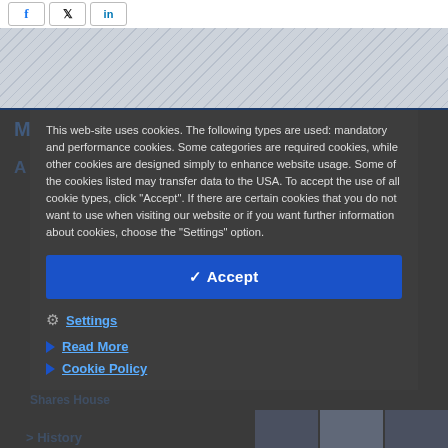[Figure (screenshot): Social media share buttons for Facebook, X/Twitter, and LinkedIn at top of page]
More about "Company"
This web-site uses cookies. The following types are used: mandatory and performance cookies. Some categories are required cookies, while other cookies are designed simply to enhance website usage. Some of the cookies listed may transfer data to the USA. To accept the use of all cookie types, click "Accept". If there are certain cookies that you do not want to use when visiting our website or if you want further information about cookies, choose the "Settings" option.
Accept button
Settings
Read More
Cookie Policy
History